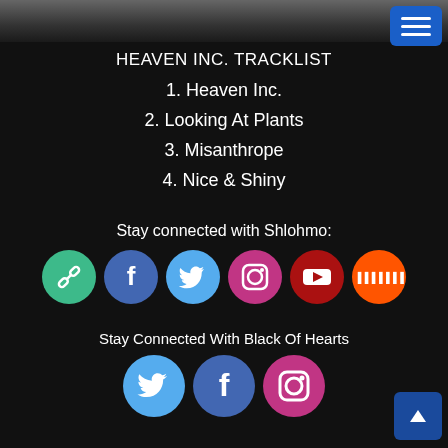[Figure (photo): Dark photo strip at top of page showing silhouettes]
[Figure (other): Blue hamburger menu button in top right corner]
HEAVEN INC. TRACKLIST
1. Heaven Inc.
2. Looking At Plants
3. Misanthrope
4. Nice & Shiny
Stay connected with Shlohmo:
[Figure (infographic): Row of 6 social media icons: link (green), Facebook (blue), Twitter (light blue), Instagram (pink/red), YouTube (dark red), SoundCloud (orange)]
Stay Connected With Black Of Hearts
[Figure (infographic): Row of 3 social media icons: Twitter (light blue), Facebook (blue), Instagram (pink)]
[Figure (other): Scroll to top button (dark blue with up arrow) in bottom right corner]